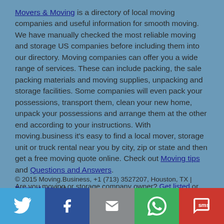Movers & Moving is a directory of local moving companies and useful information for smooth moving. We have manually checked the most reliable moving and storage US companies before including them into our directory. Moving companies can offer you a wide range of services. These can include packing, the sale packing materials and moving supplies, unpacking and storage facilities. Some companies will even pack your possessions, transport them, clean your new home, unpack your possessions and arrange them at the other end according to your instructions. With moving.business it's easy to find a local mover, storage unit or truck rental near you by city, zip or state and then get a free moving quote online. Check out Moving tips and Questions and Answers.
Are you moving or storage company owner? Get listed or Contact Us
© 2015 Moving.Business, +1 (713) 3527207, Houston, TX | Terms of use | All
[Figure (infographic): Social sharing bar with Twitter, Facebook, Email, WhatsApp, and SMS buttons]